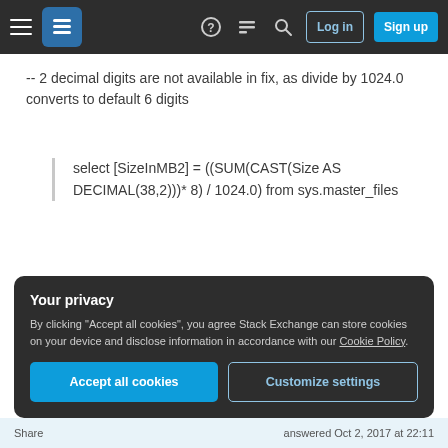Stack Exchange navigation bar with Log in and Sign up buttons
-- 2 decimal digits are not available in fix, as divide by 1024.0 converts to default 6 digits
select [SizeInMB2] = ((SUM(CAST(Size AS DECIMAL(38,2)))* 8) / 1024.0) from sys.master_files
-- so 2 casts are required to eliminate Arithmetic overflow exception and limiting 2 decimal digits
Your privacy
By clicking "Accept all cookies", you agree Stack Exchange can store cookies on your device and disclose information in accordance with our Cookie Policy.
Accept all cookies  Customize settings
Share    answered Oct 2, 2017 at 22:11